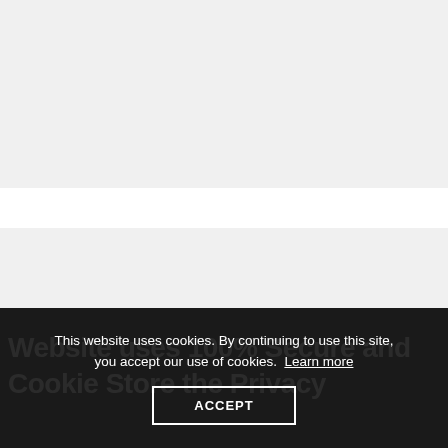[Figure (screenshot): Light grey background area at top of page]
This website uses cookies. By continuing to use this site, you accept our use of cookies. Learn more
ACCEPT